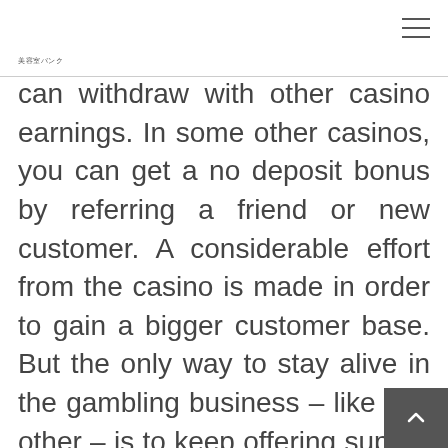美容室バンク
can withdraw with other casino earnings. In some other casinos, you can get a no deposit bonus by referring a friend or new customer. A considerable effort from the casino is made in order to gain a bigger customer base. But the only way to stay alive in the gambling business – like any other – is to keep offering superb services to existing customers. So after you register to a casino, you can still receive freebies from time to time.